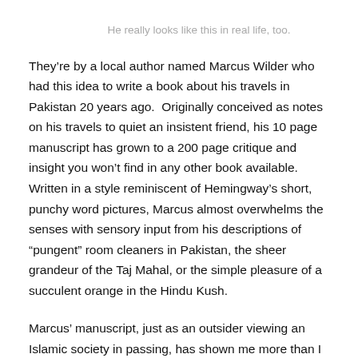He really looks like this in real life, too.
They’re by a local author named Marcus Wilder who had this idea to write a book about his travels in Pakistan 20 years ago.  Originally conceived as notes on his travels to quiet an insistent friend, his 10 page manuscript has grown to a 200 page critique and insight you won’t find in any other book available. Written in a style reminiscent of Hemingway’s short, punchy word pictures, Marcus almost overwhelms the senses with sensory input from his descriptions of “pungent” room cleaners in Pakistan, the sheer grandeur of the Taj Mahal, or the simple pleasure of a succulent orange in the Hindu Kush.
Marcus’ manuscript, just as an outsider viewing an Islamic society in passing, has shown me more than I learned in a